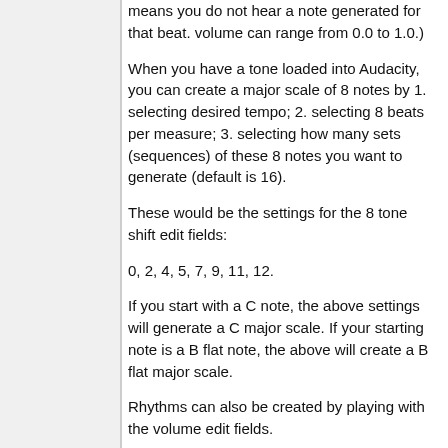means you do not hear a note generated for that beat. volume can range from 0.0 to 1.0.)
When you have a tone loaded into Audacity, you can create a major scale of 8 notes by 1. selecting desired tempo; 2. selecting 8 beats per measure; 3. selecting how many sets (sequences) of these 8 notes you want to generate (default is 16).
These would be the settings for the 8 tone shift edit fields:
0, 2, 4, 5, 7, 9, 11, 12.
If you start with a C note, the above settings will generate a C major scale. If your starting note is a B flat note, the above will create a B flat major scale.
Rhythms can also be created by playing with the volume edit fields.
For example, in a series of eighth notes, notes which fall on only the first, fourth and seventh beats can be made by making beats per measure 8, and making volume on #2, 3, 5, 6 and 8 to 0.0.